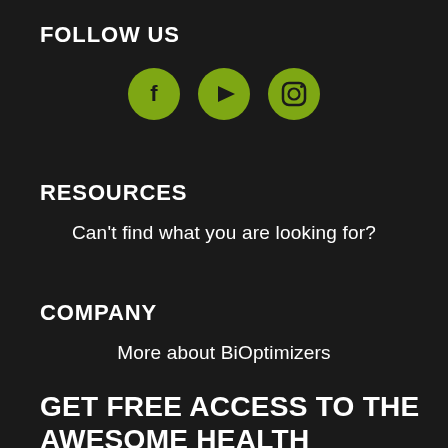FOLLOW US
[Figure (illustration): Three olive/yellow-green circular social media icons: Facebook (f), YouTube (play button), and Instagram (camera outline)]
RESOURCES
Can't find what you are looking for?
COMPANY
More about BiOptimizers
GET FREE ACCESS TO THE AWESOME HEALTH COURSE ($297 VALUE)